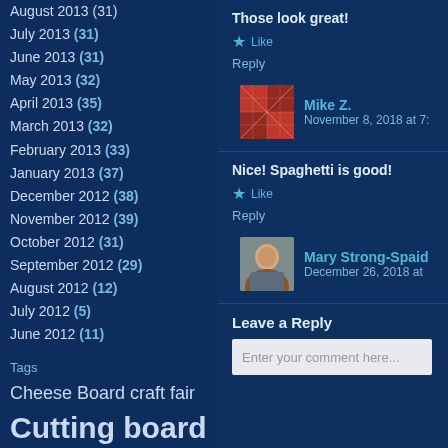August 2013 (31)
July 2013 (31)
June 2013 (31)
May 2013 (32)
April 2013 (35)
March 2013 (32)
February 2013 (33)
January 2013 (37)
December 2012 (38)
November 2012 (39)
October 2012 (31)
September 2012 (29)
August 2012 (12)
July 2012 (5)
June 2012 (11)
Tags
Cheese Board craft fair Cutting board end grain
Those look great!
Reply
Mike Z.
November 8, 2018 at 7:
Nice! Spaghetti is good!
Reply
Mary Strong-Spaid
December 26, 2018 at
Leave a Reply
Enter your comment here...